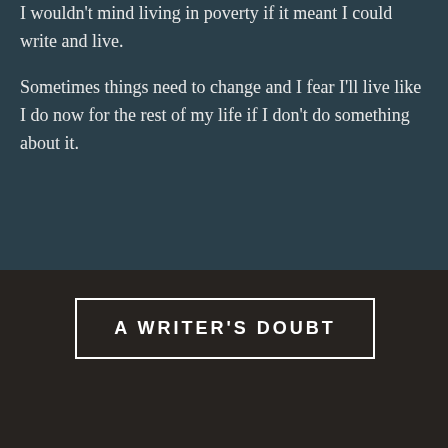I wouldn't mind living in poverty if it meant I could write and live.

Sometimes things need to change and I fear I'll live like I do now for the rest of my life if I don't do something about it.
A WRITER'S DOUBT